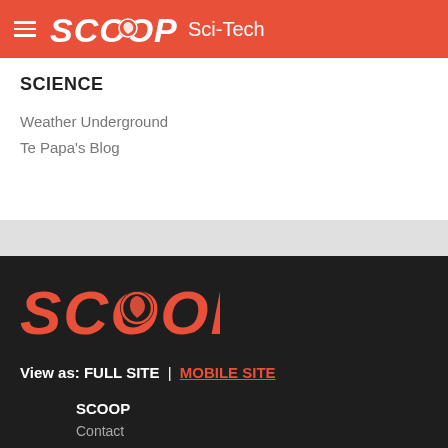SCOOP Sci-Tech
SCIENCE
Weather Underground
Te Papa's Blog
[Figure (logo): Large SCOOP logo in orange on dark background]
View as: FULL SITE | MOBILE SITE
SCOOP
Contact
About